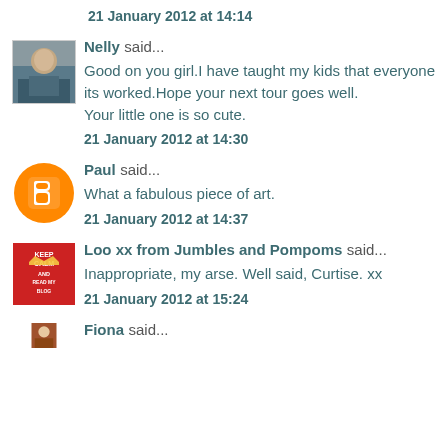21 January 2012 at 14:14
Nelly said...
Good on you girl.I have taught my kids that everyone its worked.Hope your next tour goes well. Your little one is so cute.
21 January 2012 at 14:30
Paul said...
What a fabulous piece of art.
21 January 2012 at 14:37
Loo xx from Jumbles and Pompoms said...
Inappropriate, my arse. Well said, Curtise. xx
21 January 2012 at 15:24
Fiona said...